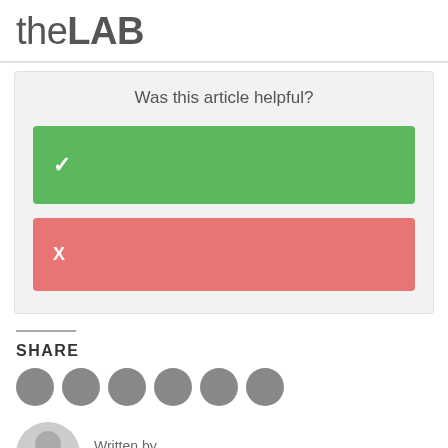theLAB
Was this article helpful?
[Figure (other): Green button with checkmark (Yes) and red button with X (No) for article helpfulness voting widget]
SHARE
[Figure (other): Row of social share icon circles]
Written by
Paul Burkhart